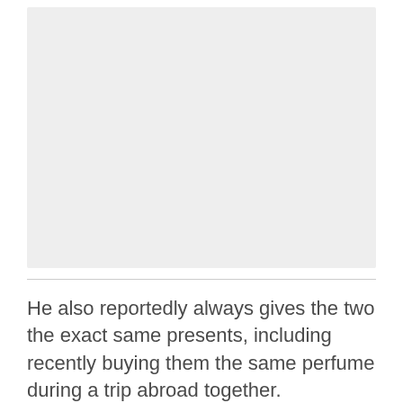[Figure (photo): A blank or placeholder image area with light gray background.]
He also reportedly always gives the two the exact same presents, including recently buying them the same perfume during a trip abroad together.